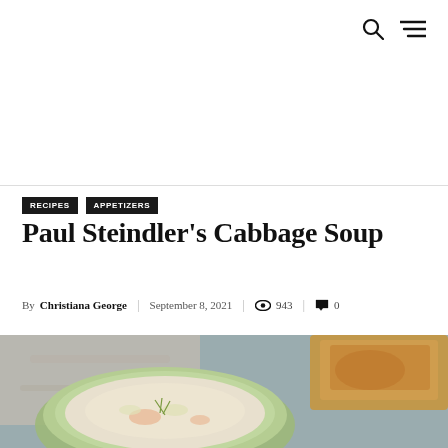Navigation icons: search and menu
Paul Steindler's Cabbage Soup
RECIPES  APPETIZERS
By Christiana George | September 8, 2021 | 943 | 0
[Figure (photo): A green bowl filled with cabbage soup containing vegetables and garnish, with bread in the background, on a gray surface with a linen cloth.]